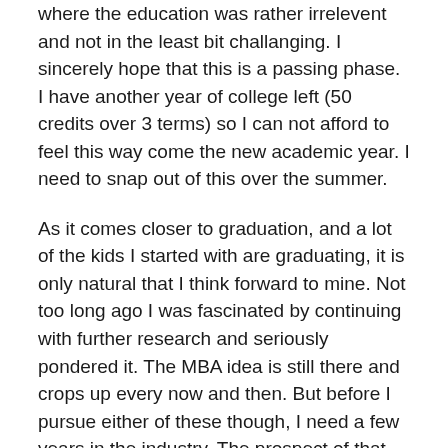where the education was rather irrelevent and not in the least bit challanging. I sincerely hope that this is a passing phase. I have another year of college left (50 credits over 3 terms) so I can not afford to feel this way come the new academic year. I need to snap out of this over the summer.
As it comes closer to graduation, and a lot of the kids I started with are graduating, it is only natural that I think forward to mine. Not too long ago I was fascinated by continuing with further research and seriously pondered it. The MBA idea is still there and crops up every now and then. But before I pursue either of these though, I need a few years in the industry. The prospect of that itself terrifies me – not because it is difficult, but because I know I'll be bored to tears. And even then, there is another obstacle that I need to over come before I can make either